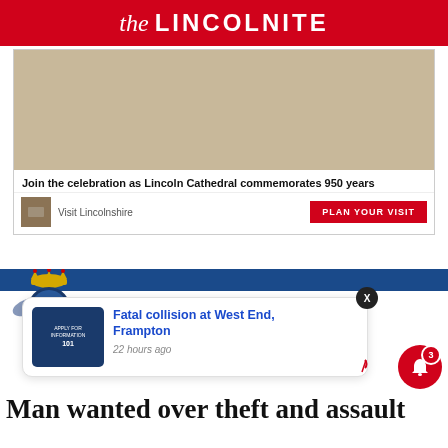the LINCOLNITE
[Figure (infographic): Advertisement for Visit Lincolnshire - 'Join the celebration as Lincoln Cathedral commemorates 950 years' with Plan Your Visit CTA button]
[Figure (infographic): Lincolnshire Police badge/logo and blue header bar]
[Figure (other): Notification popup card: 'Fatal collision at West End, Frampton' 22 hours ago, with X close button and red bell notification button showing badge 3]
Man wanted over theft and assault